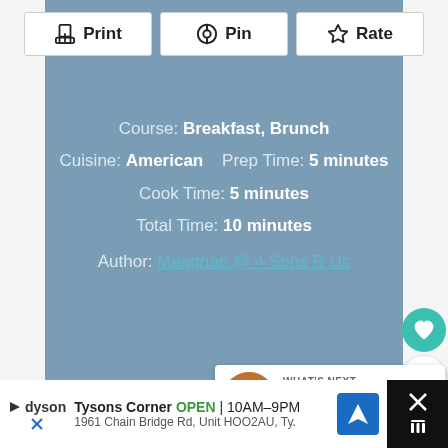[Figure (screenshot): Three action buttons: Print, Pin, Rate on white background with border]
Course: Breakfast, Brunch
Cuisine: American    Prep Time: 5 minutes
Cook Time: 5 minutes
Total Time: 10 minutes
Author: Meaghan @ 4 Sons R Us
[Figure (infographic): Heart/like button (teal circle with heart icon), count '1', share button]
[Figure (infographic): What's Next panel with food thumbnail and text 'Fried Banana Peppers']
WHAT'S NEXT → Fried Banana Peppers
[Figure (infographic): Advertisement bar: Dyson brand, Tysons Corner OPEN 10AM-9PM, 1961 Chain Bridge Rd, Unit HOO2AU, Ty.]